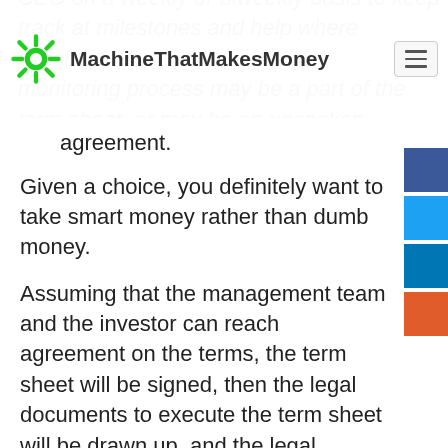MachineThatMakesMoney
agreement.
Given a choice, you definitely want to take smart money rather than dumb money.
Assuming that the management team and the investor can reach agreement on the terms, the term sheet will be signed, then the legal documents to execute the term sheet will be drawn up, and the legal documents will be signed. The company will receive the money from the investor either as a check or a wire transfer. These legal documents can be hundreds of pages long in some cases – you definitely want a lawyer on your team to review them.